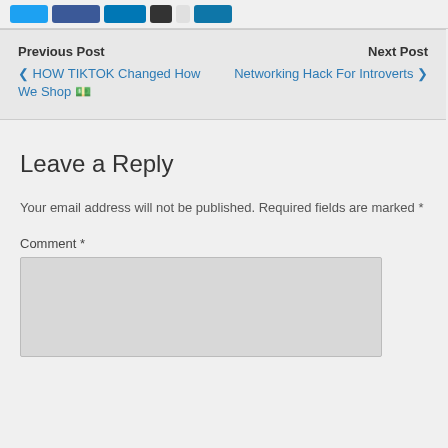[Figure (other): Social media share buttons row at top of page]
Previous Post
‹ HOW TIKTOK Changed How We Shop 💵
Next Post
Networking Hack For Introverts ›
Leave a Reply
Your email address will not be published. Required fields are marked *
Comment *